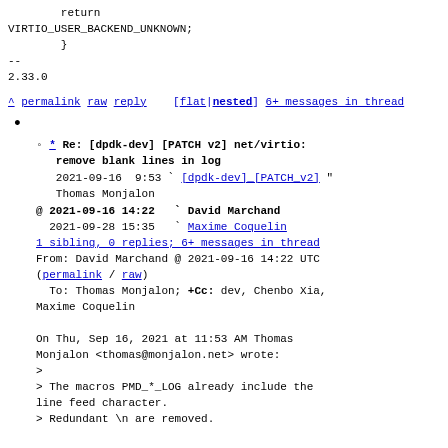return
    VIRTIO_USER_BACKEND_UNKNOWN;
        }
--
2.33.0
^ permalink raw reply    [flat|nested] 6+ messages in thread
* Re: [dpdk-dev] [PATCH v2] net/virtio: remove blank lines in log
2021-09-16  9:53 ` [dpdk-dev]_[PATCH_v2] " Thomas Monjalon
@ 2021-09-16 14:22  ` David Marchand
  2021-09-28 15:35  ` Maxime Coquelin
1 sibling, 0 replies; 6+ messages in thread
From: David Marchand @ 2021-09-16 14:22 UTC (permalink / raw)
To: Thomas Monjalon; +Cc: dev, Chenbo Xia, Maxime Coquelin

On Thu, Sep 16, 2021 at 11:53 AM Thomas Monjalon <thomas@monjalon.net> wrote:
>
> The macros PMD_*_LOG already include the line feed character.
> Redundant \n are removed.